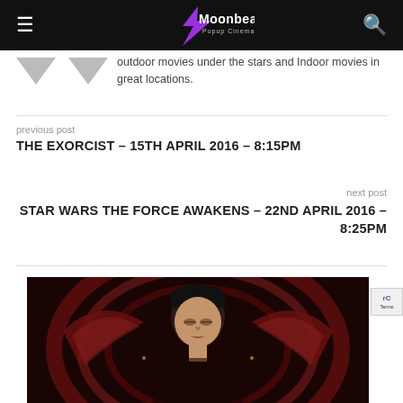Moonbeamers Popup Cinema
outdoor movies under the stars and Indoor movies in great locations.
previous post
THE EXORCIST – 15TH APRIL 2016 – 8:15PM
next post
STAR WARS THE FORCE AWAKENS – 22ND APRIL 2016 – 8:25PM
[Figure (photo): Movie poster or promotional image showing a young man with dark hair against an ornate red and gold decorative background]